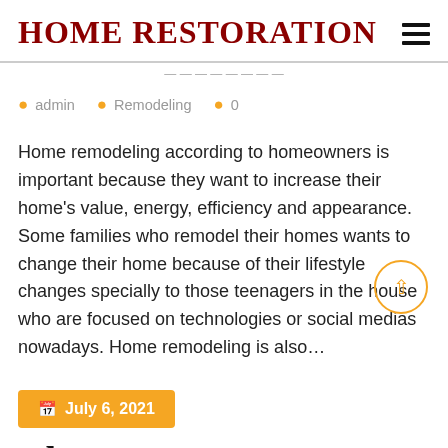Home Restoration
admin   Remodeling   0
Home remodeling according to homeowners is important because they want to increase their home's value, energy, efficiency and appearance. Some families who remodel their homes wants to change their home because of their lifestyle changes specially to those teenagers in the house who are focused on technologies or social medias nowadays. Home remodeling is also…
July 6, 2021
Cl...